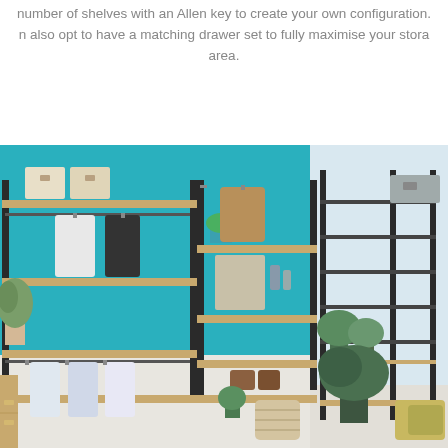number of shelves with an Allen key to create your own configuration. n also opt to have a matching drawer set to fully maximise your storage area.
[Figure (photo): Open wardrobe shelving system with black metal frames and wooden shelves against a teal/turquoise wall. Left section shows shirts and clothes hanging on rails, storage boxes on top shelf, plant in pot. Middle and right sections show jackets hanging, shoes on shelf, storage baskets, plants. Right side shows a bright windowed area with a grid-frame shelving unit containing plants.]